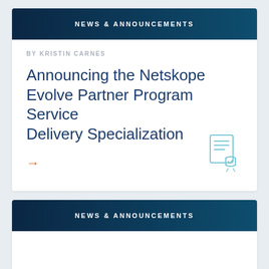NEWS & ANNOUNCEMENTS
BY KRISTIN CARNES
Announcing the Netskope Evolve Partner Program Service Delivery Specialization
NEWS & ANNOUNCEMENTS